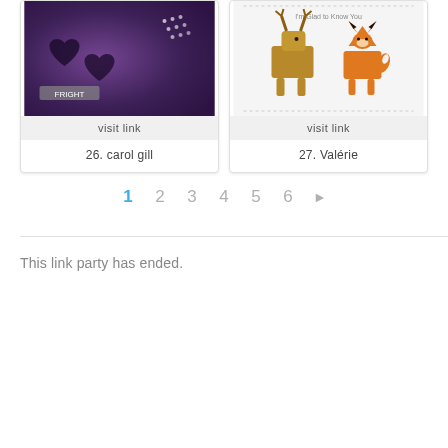[Figure (photo): Craft art image with purple background, hearts and embellishments]
visit link
26. carol gill
[Figure (photo): Greeting card with illustrated moose and fox animals on white background, text reads I'm Glad to Know You]
visit link
27. Valérie
1 2 3 4 5 6 ▶
This link party has ended.